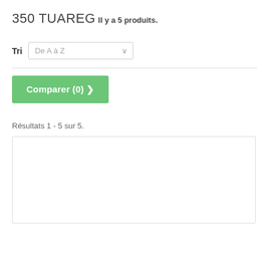350 TUAREG
Il y a 5 produits.
Tri  De A à Z
[Figure (screenshot): Green 'Comparer (0) >' button]
Résultats 1 - 5 sur 5.
[Figure (other): Empty white product listing box with border]